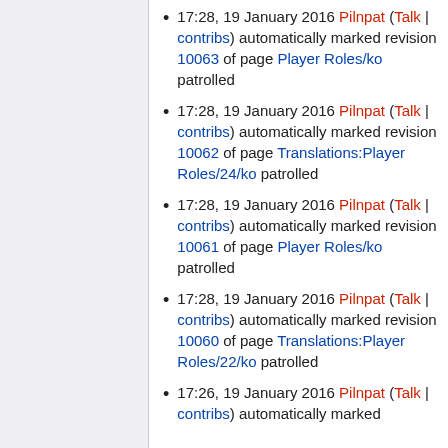17:28, 19 January 2016 Pilnpat (Talk | contribs) automatically marked revision 10063 of page Player Roles/ko patrolled
17:28, 19 January 2016 Pilnpat (Talk | contribs) automatically marked revision 10062 of page Translations:Player Roles/24/ko patrolled
17:28, 19 January 2016 Pilnpat (Talk | contribs) automatically marked revision 10061 of page Player Roles/ko patrolled
17:28, 19 January 2016 Pilnpat (Talk | contribs) automatically marked revision 10060 of page Translations:Player Roles/22/ko patrolled
17:26, 19 January 2016 Pilnpat (Talk | contribs) automatically marked